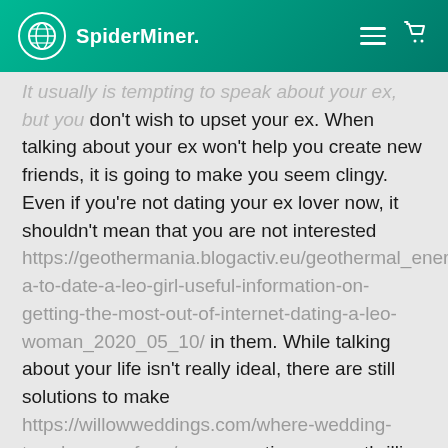SpiderMiner.
It usually is tempting to speak about your ex, but you don't wish to upset your ex. When talking about your ex won't help you create new friends, it is going to make you seem clingy. Even if you're not dating your ex lover now, it shouldn't mean that you are not interested https://geothermania.blogactiv.eu/geothermal_energy/ultra-to-date-a-leo-girl-useful-information-on-getting-the-most-out-of-internet-dating-a-leo-woman_2020_05_10/ in them. While talking about your life isn't really ideal, there are still solutions to make https://willowweddings.com/where-wedding-trends-come-from/ your new times more thrilling and powerful.
Whilst dating after divorce might seem intimidating, you must take time to heal. While it is critical to socialize with others, you ought to avoid partnering off to people